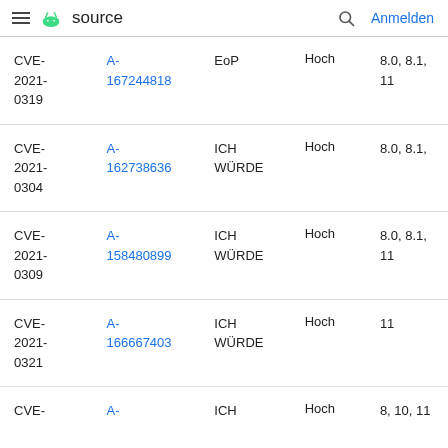≡ 🤖 source   🔍 Anmelden
| CVE | Referenzen | Typ | Schweregrad | Aktualisierte AOSP-Versionen |
| --- | --- | --- | --- | --- |
| CVE-2021-0319 | A-167244818 | EoP | Hoch | 8.0, 8.1, 11 |
| CVE-2021-0304 | A-162738636 | ICH WÜRDE | Hoch | 8.0, 8.1, |
| CVE-2021-0309 | A-158480899 | ICH WÜRDE | Hoch | 8.0, 8.1, 11 |
| CVE-2021-0321 | A-166667403 | ICH WÜRDE | Hoch | 11 |
| CVE-... | A-... | ICH WÜRDE | Hoch | 8, 10, 11 |